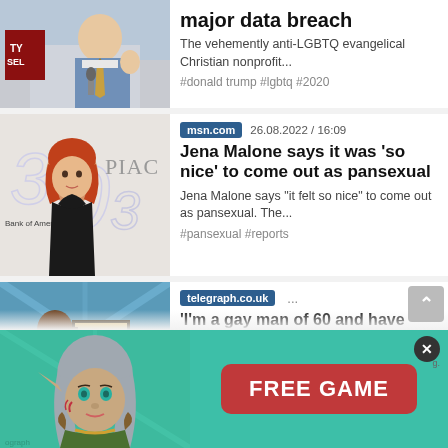[Figure (screenshot): News feed showing three news articles and an advertisement banner at the bottom.]
major data breach
The vehemently anti-LGBTQ evangelical Christian nonprofit...
#donald trump #lgbtq #2020
msn.com  26.08.2022 / 16:09
Jena Malone says it was 'so nice' to come out as pansexual
Jena Malone says "it felt so nice" to come out as pansexual. The...
#pansexual #reports
telegraph.co.uk  ...
'I'm a gay man of 60 and have learnt my late husband...
FREE GAME